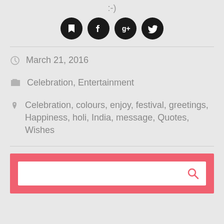:-)
[Figure (illustration): Four social media icon circles (flag/bookmark, Facebook, Google+, Twitter) in black]
March 21, 2016
Celebration, Entertainment
Celebration, colours, enjoy, festival, greetings, Happiness, holi, India, message, Quotes, Wishes
[Figure (other): Search bar with pink/red border and magnifying glass icon]